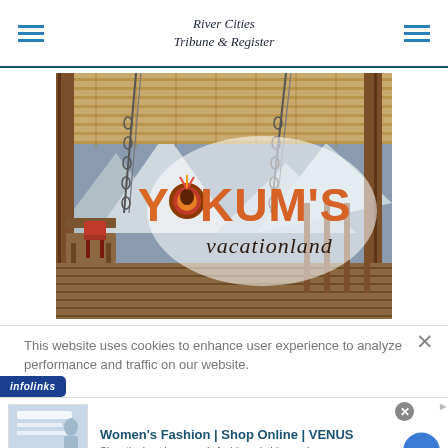River Cities Tribune & Register
[Figure (photo): Yokum's Vacationland sign overlaid on a covered porch/deck with wooden beams, hanging chains, mountains in background. The logo features Native American chief headdress imagery with orange/brown lettering reading 'YOKUM'S vacationland']
This website uses cookies to enhance user experience to analyze performance and traffic on our website.
[Figure (logo): infolinks badge in blue]
[Figure (screenshot): Women's Fashion | Shop Online | VENUS advertisement. Shop the best in women's fashion, clothing, swimwear. venus.com]